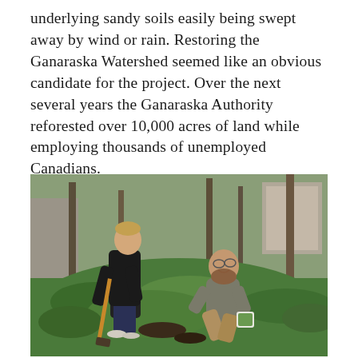underlying sandy soils easily being swept away by wind or rain. Restoring the Ganaraska Watershed seemed like an obvious candidate for the project. Over the next several years the Ganaraska Authority reforested over 10,000 acres of land while employing thousands of unemployed Canadians.
[Figure (photo): Two people planting a tree in a green woodland area with lush ground cover of ferns and plants. A woman in a black hoodie is digging with a shovel on the left, and a man in a grey shirt is crouching on the right holding a small potted plant and smiling at the camera. Trees and an old building are visible in the background.]